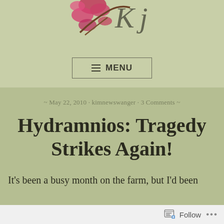[Figure (illustration): Partial blog logo with floral wreath and decorative script text, cropped at top]
[Figure (other): Menu button with hamburger icon and MENU text inside a rectangular border]
~ May 22, 2010 · kimnewswanger · 3 Comments ~
Hydramnios: Tragedy Strikes Again!
It's been a busy month on the farm, but I'd been
[Figure (other): WordPress Follow button with icon and ellipsis menu in the bottom bar]